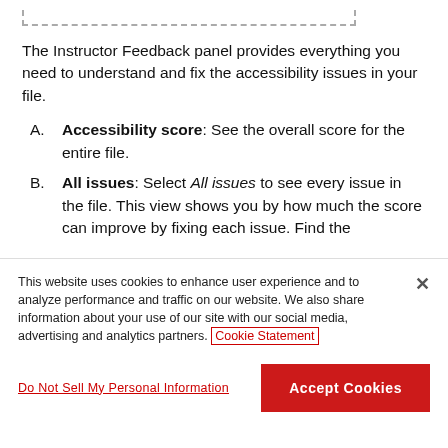[Figure (screenshot): Top portion of a dashed-border box (only bottom edge visible)]
The Instructor Feedback panel provides everything you need to understand and fix the accessibility issues in your file.
Accessibility score: See the overall score for the entire file.
All issues: Select All issues to see every issue in the file. This view shows you by how much the score can improve by fixing each issue. Find the
This website uses cookies to enhance user experience and to analyze performance and traffic on our website. We also share information about your use of our site with our social media, advertising and analytics partners. Cookie Statement
Do Not Sell My Personal Information
Accept Cookies